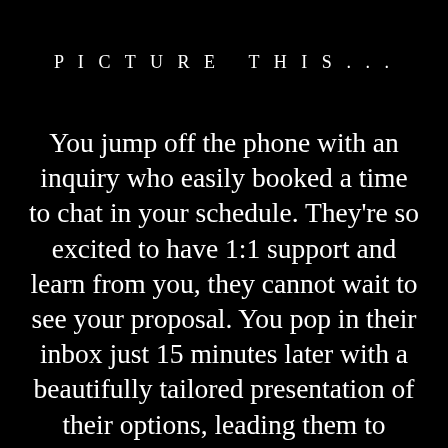PICTURE THIS...
You jump off the phone with an inquiry who easily booked a time to chat in your schedule. They're so excited to have 1:1 support and learn from you, they cannot wait to see your proposal. You pop in their inbox just 15 minutes later with a beautifully tailored presentation of their options, leading them to